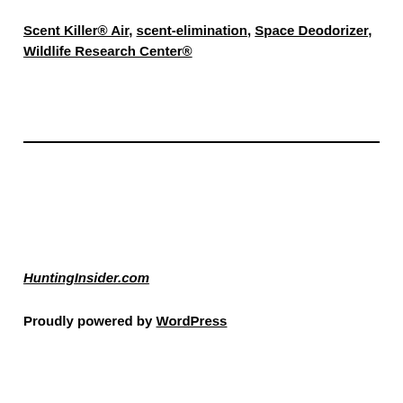Scent Killer® Air, scent-elimination, Space Deodorizer, Wildlife Research Center®
HuntingInsider.com
Proudly powered by WordPress